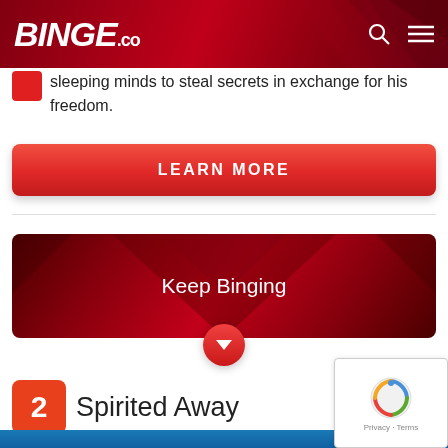BINGE.co
sleeping minds to steal secrets in exchange for his freedom.
LEARN MORE
Keep Binging
2 Spirited Away